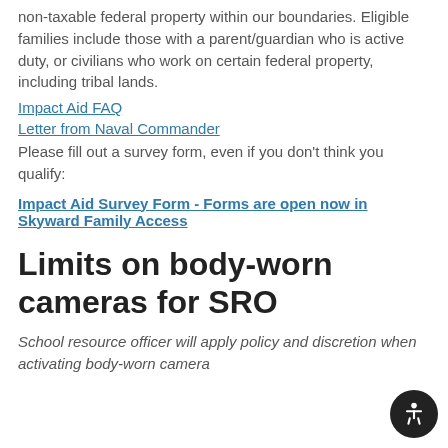non-taxable federal property within our boundaries. Eligible families include those with a parent/guardian who is active duty, or civilians who work on certain federal property, including tribal lands.
Impact Aid FAQ
Letter from Naval Commander
Please fill out a survey form, even if you don't think you qualify:
Impact Aid Survey Form - Forms are open now in Skyward Family Access
Limits on body-worn cameras for SRO
School resource officer will apply policy and discretion when activating body-worn camera